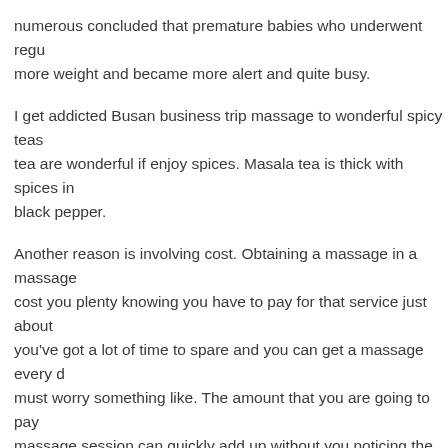numerous concluded that premature babies who underwent regu more weight and became more alert and quite busy.
I get addicted Busan business trip massage to wonderful spicy teas tea are wonderful if enjoy spices. Masala tea is thick with spices in black pepper.
Another reason is involving cost. Obtaining a massage in a massage cost you plenty knowing you have to pay for that service just about you've got a lot of time to spare and you can get a massage every must worry something like. The amount that you are going to pay massage session can quickly add up without you noticing the applic that obtaining a massage chair would not cost merely single cent; i very expensive and elaborate as it usually. But _______________ is a time, once it is definitely paid, you will have to fret on additional p make use of the chair every 24-hour period.
Just just what exactly can 12 inches trip massage caused by you? Pr are conscious of its de-stressing benefit. But more than that, a ma body can do wonders given that extends its benefit into the upper happens because stimulation from the feet results in better bloo